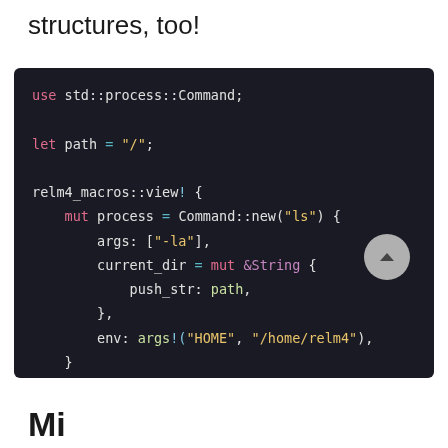structures, too!
[Figure (screenshot): Dark-themed code block showing Rust code using relm4_macros::view! macro with std::process::Command, including args, current_dir with &String mutation, env with args! macro, and dbg! output call.]
Mi...